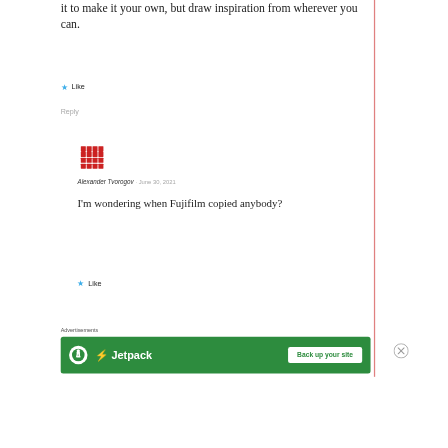it to make it your own, but draw inspiration from wherever you can.
★ Like
Reply
[Figure (illustration): Red decorative pixel-art style avatar icon for user Alexander Tvorogov]
Alexander Tvorogov · June 30, 2021
I'm wondering when Fujifilm copied anybody?
★ Like
Advertisements
[Figure (infographic): Jetpack advertisement banner: green background with Jetpack logo and 'Back up your site' button]